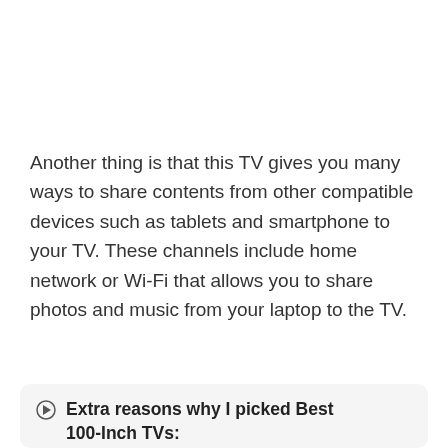Another thing is that this TV gives you many ways to share contents from other compatible devices such as tablets and smartphone to your TV. These channels include home network or Wi-Fi that allows you to share photos and music from your laptop to the TV.
Extra reasons why I picked Best 100-Inch TVs: